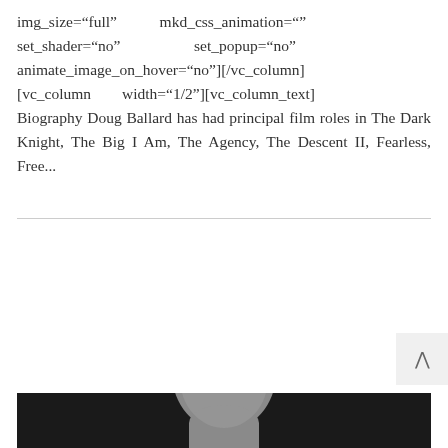img_size="full" mkd_css_animation="" set_shader="no" set_popup="no" animate_image_on_hover="no"][/vc_column] [vc_column width="1/2"][vc_column_text] Biography Doug Ballard has had principal film roles in The Dark Knight, The Big I Am, The Agency, The Descent II, Fearless, Free...
Share / regan / 0 Comments / / 0 Likes
[Figure (photo): Portrait photo of a man with a shaved head against a dark background, head and shoulders visible from the bottom edge of the page]